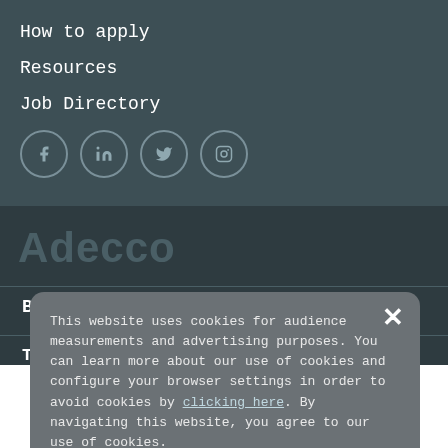How to apply
Resources
Job Directory
[Figure (other): Social media icons: Facebook, LinkedIn, Twitter, Instagram — each in a circular border]
[Figure (logo): Adecco logo in dark muted text]
Blog
Terms & Conditions
Privacy Policy
This website uses cookies for audience measurements and advertising purposes. You can learn more about our use of cookies and configure your browser settings in order to avoid cookies by clicking here. By navigating this website, you agree to our use of cookies.